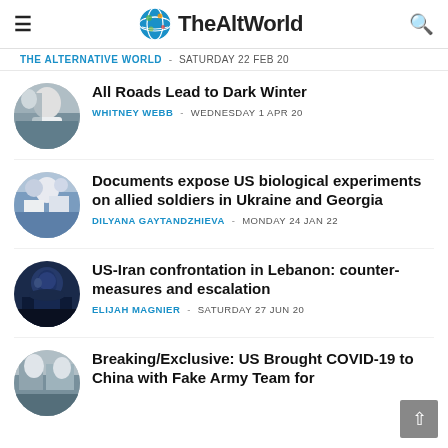TheAltWorld
THE ALTERNATIVE WORLD - SATURDAY 22 FEB 20
All Roads Lead to Dark Winter
WHITNEY WEBB - WEDNESDAY 1 APR 20
Documents expose US biological experiments on allied soldiers in Ukraine and Georgia
DILYANA GAYTANDZHIEVA - MONDAY 24 JAN 22
US-Iran confrontation in Lebanon: counter-measures and escalation
ELIJAH MAGNIER - SATURDAY 27 JUN 20
Breaking/Exclusive: US Brought COVID-19 to China with Fake Army Team for